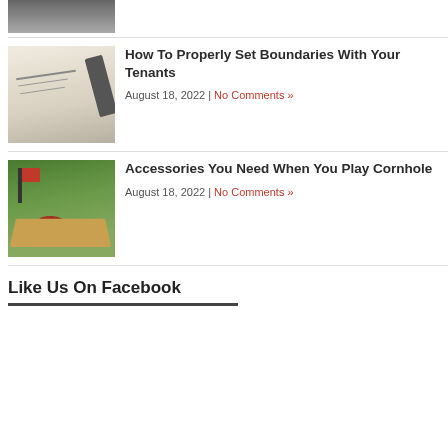[Figure (photo): Partial view of a vehicle, cropped at top of page]
[Figure (photo): Close-up of a lease document showing Landlord Signature line with a pen]
How To Properly Set Boundaries With Your Tenants
August 18, 2022 | No Comments »
[Figure (photo): Cornhole game board with red bean bags and red flag on grass]
Accessories You Need When You Play Cornhole
August 18, 2022 | No Comments »
Like Us On Facebook